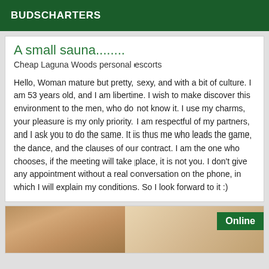BUDSCHARTERS
A small sauna........
Cheap Laguna Woods personal escorts
Hello, Woman mature but pretty, sexy, and with a bit of culture. I am 53 years old, and I am libertine. I wish to make discover this environment to the men, who do not know it. I use my charms, your pleasure is my only priority. I am respectful of my partners, and I ask you to do the same. It is thus me who leads the game, the dance, and the clauses of our contract. I am the one who chooses, if the meeting will take place, it is not you. I don't give any appointment without a real conversation on the phone, in which I will explain my conditions. So I look forward to it :)
[Figure (photo): Partial face photo of a person with curly/wavy hair, with an 'Online' badge overlay in the top right corner]